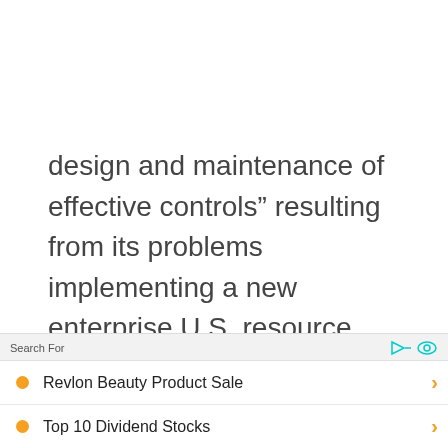design and maintenance of effective controls” resulting from its problems implementing a new enterprise U.S. resource planning (ERP) system. The ERP system is being implemented by SAP.
Search For
Revlon Beauty Product Sale
Top 10 Dividend Stocks